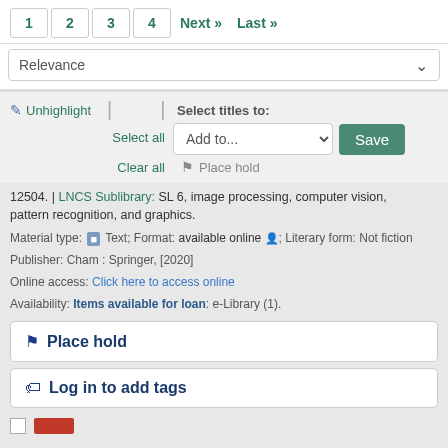1 2 3 4 Next » Last »
Relevance
✏ Unhighlight | Select titles to: Select all Add to... Save Clear all 🔖 Place hold
12504. | LNCS Sublibrary: SL 6, image processing, computer vision, pattern recognition, and graphics.
Material type: Text; Format: available online; Literary form: Not fiction
Publisher: Cham : Springer, [2020]
Online access: Click here to access online
Availability: Items available for loan: e-Library (1).
🔖 Place hold
🏷 Log in to add tags